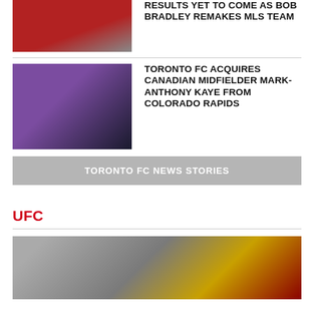[Figure (photo): Soccer player in red jersey on field]
RESULTS YET TO COME AS BOB BRADLEY REMAKES MLS TEAM
[Figure (photo): Two soccer players, one in purple uniform, competing for ball on field]
TORONTO FC ACQUIRES CANADIAN MIDFIELDER MARK-ANTHONY KAYE FROM COLORADO RAPIDS
TORONTO FC NEWS STORIES
UFC
[Figure (photo): UFC trophy or championship belt close-up with red and gold design]